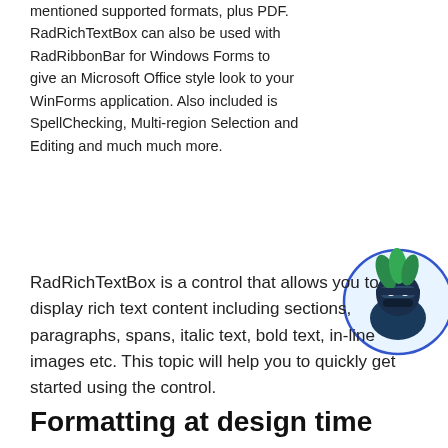mentioned supported formats, plus PDF. RadRichTextBox can also be used with RadRibbonBar for Windows Forms to give an Microsoft Office style look to your WinForms application. Also included is SpellChecking, Multi-region Selection and Editing and much much more.
[Figure (illustration): Ninja mascot character illustration inside a circular blue-outlined frame with light blue background]
RadRichTextBox is a control that allows you to display rich text content including sections, paragraphs, spans, italic text, bold text, in-line images etc. This topic will help you to quickly get started using the control.
Formatting at design time